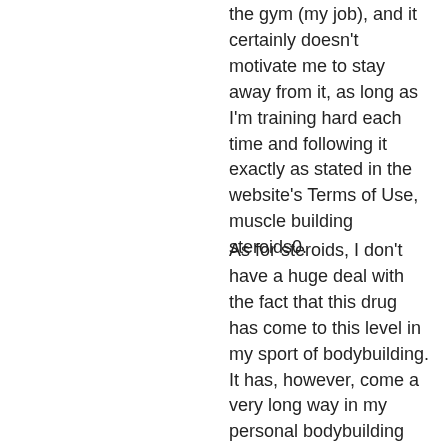the gym (my job), and it certainly doesn't motivate me to stay away from it, as long as I'm training hard each time and following it exactly as stated in the website's Terms of Use, muscle building steroids0.
As for steroids, I don't have a huge deal with the fact that this drug has come to this level in my sport of bodybuilding. It has, however, come a very long way in my personal bodybuilding and my personal knowledge of this drug, muscle building steroids1.
undefined
Related Article:
https://www.utigardpropertygroup.com/pro